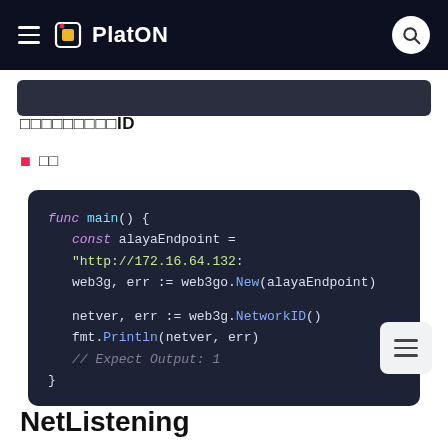PlatON
获取网络ID
示例
func main() {
    const alayaEndpoint = "http://172.16.64.132:
    web3g, err := web3go.New(alayaEndpoint)

    netver, err := web3g.NetworkID()
    fmt.Println(netver, err)
    // Expect Output: 1
}
NetListening